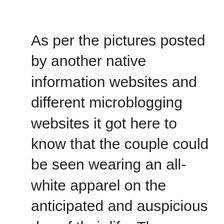As per the pictures posted by another native information websites and different microblogging websites it got here to know that the couple could be seen wearing an all-white apparel on the anticipated and auspicious day of their life. The couple exchanged garlands in a easy ceremony with a portrait of Dalit icon BR Ambedkar seen within the background. Properly, again in march Tina Dabi took her social media (Instagram) the place she broke the information of her engagement. In an IG submit, she captioned “I’m carrying the